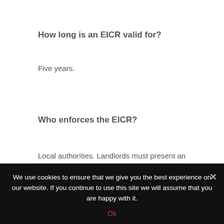How long is an EICR valid for?
Five years.
Who enforces the EICR?
Local authorities. Landlords must present an EICR within seven days of a request from the local authority. As we said earlier, the fine for
We use cookies to ensure that we give you the best experience on our website. If you continue to use this site we will assume that you are happy with it.
Ok